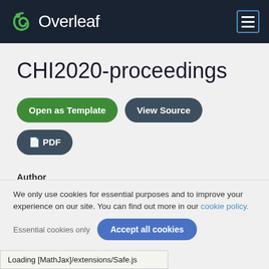[Figure (logo): Overleaf logo (leaf icon + text 'Overleaf') on dark navy header bar with hamburger menu icon on the right]
CHI2020-proceedings
Open as Template | View Source | PDF
Author
CHI 2020 organizing committee
Last Updated
3 years ago
We only use cookies for essential purposes and to improve your experience on our site. You can find out more in our cookie policy.
Essential cookies only   Accept all cookies
Loading [MathJax]/extensions/Safe.js